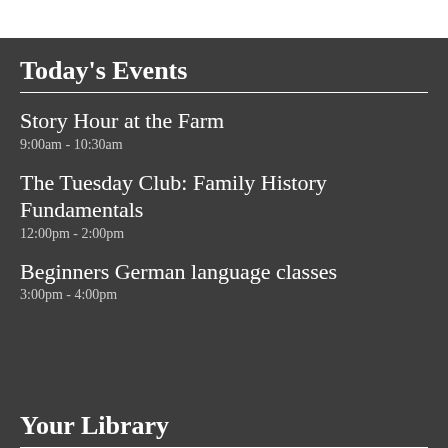Today's Events
Story Hour at the Farm
9:00am - 10:30am
The Tuesday Club: Family History Fundamentals
12:00pm - 2:00pm
Beginners German language classes
3:00pm - 4:00pm
Your Library